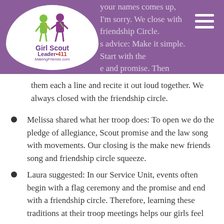your names comes up, I'm sorry. We close with friendship Circle. s advice: Make it simple. Start with the e and promise. Then eventually teach them the law. You can teach them by giving them each a line and recite it out loud together. We always closed with the friendship circle.
Melissa shared what her troop does: To open we do the pledge of allegiance, Scout promise and the law song with movements. Our closing is the make new friends song and friendship circle squeeze.
Laura suggested: In our Service Unit, events often begin with a flag ceremony and the promise and end with a friendship circle. Therefore, learning these traditions at their troop meetings helps our girls feel more